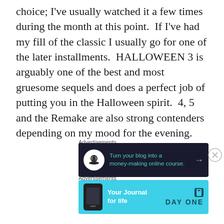choice; I've usually watched it a few times during the month at this point.  If I've had my fill of the classic I usually go for one of the later installments.  HALLOWEEN 3 is arguably one of the best and most gruesome sequels and does a perfect job of putting you in the Halloween spirit.  4, 5 and the Remake are also strong contenders depending on my mood for the evening.
Advertisements
[Figure (infographic): Dark banner ad: bonsai tree icon on left, teal text 'Turn your blog into a money-making online course.' with arrow on right]
Advertisements
[Figure (infographic): Light blue banner ad: phone image on left, bold white text 'Your Journal for life', Day One logo on right]